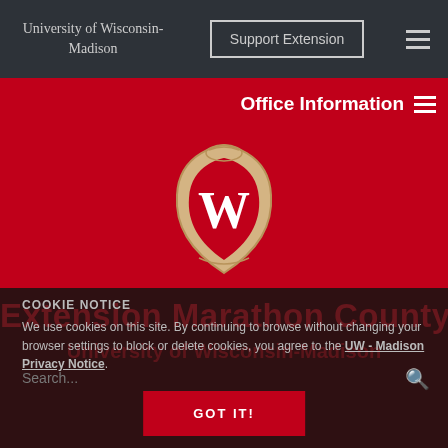University of Wisconsin-Madison
Support Extension
Office Information
[Figure (logo): University of Wisconsin-Madison W crest logo on red background]
Extension Marathon County
University of Wisconsin-Madison
COOKIE NOTICE
We use cookies on this site. By continuing to browse without changing your browser settings to block or delete cookies, you agree to the UW - Madison Privacy Notice.
Search...
GOT IT!